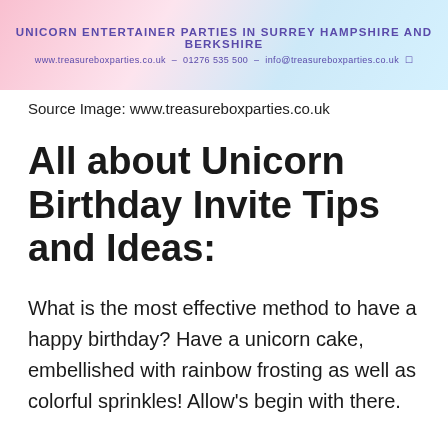[Figure (illustration): Banner image for Treasure Box Parties showing unicorn entertainer parties in Surrey, Hampshire and Berkshire with website, phone and email contact details on a pastel pink/blue gradient background.]
Source Image: www.treasureboxparties.co.uk
All about Unicorn Birthday Invite Tips and Ideas:
What is the most effective method to have a happy birthday? Have a unicorn cake, embellished with rainbow frosting as well as colorful sprinkles! Allow’s begin with there.